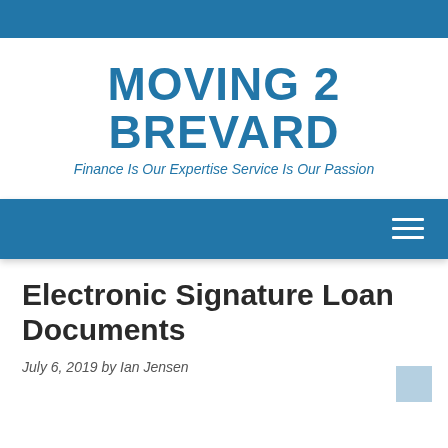MOVING 2 BREVARD
Finance Is Our Expertise Service Is Our Passion
[Figure (other): Navigation bar with hamburger menu icon on blue background]
Electronic Signature Loan Documents
July 6, 2019 by Ian Jensen